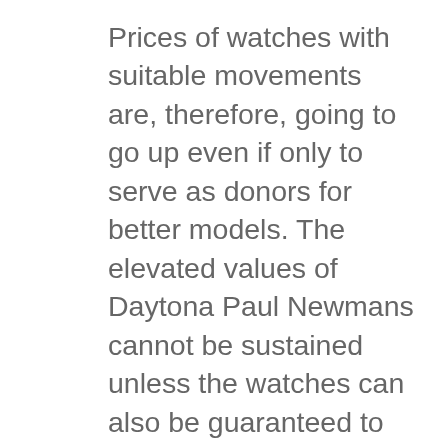Prices of watches with suitable movements are, therefore, going to go up even if only to serve as donors for better models. The elevated values of Daytona Paul Newmans cannot be sustained unless the watches can also be guaranteed to keep working. Thus, the lesser brands simply become unwitting donors.
Some of the 72's most notorious mechanical failings lie around the keyless work. After decades of use, the brass bearing that